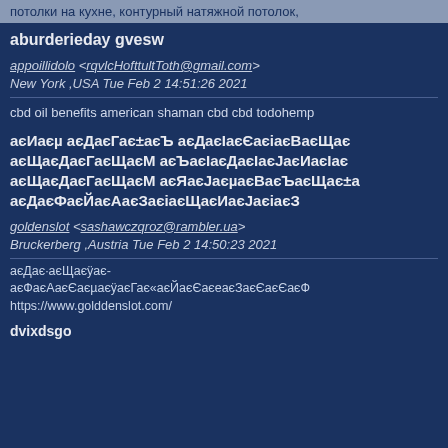потолки на кухне, контурный натяжной потолок,
aburderieday gvesw
appoillidolo <rqvlcHofttultToth@gmail.com>
New York ,USA Tue Feb 2 14:51:26 2021
cbd oil benefits american shaman cbd cbd todohemp
аєИаєµ аєДаєГає±аєЪ аєДаєІаєЄаєіаєВаєЩає… аєЩаєДаєГаєЩаєМ аєЪаєІаєДаєІаєЈаєИаєІає… аєЩаєДаєГаєЩаєМ аєЯаєЈаєµаєВаєЪаєЩає±а єДаєФаєЙаєАаєЗаєіаєЩаєИаєЈаєіаєЗ
goldenslot <sashawczqroz@rambler.ua>
Bruckerberg ,Austria Tue Feb 2 14:50:23 2021
аєДає·аєЩаєÿає-аєФаєАаєЄаєµаєÿаєГає«аєЙаєЄаєеаєЗаєЄаєЄаєФ
https://www.golddenslot.com/
dvixdsgo